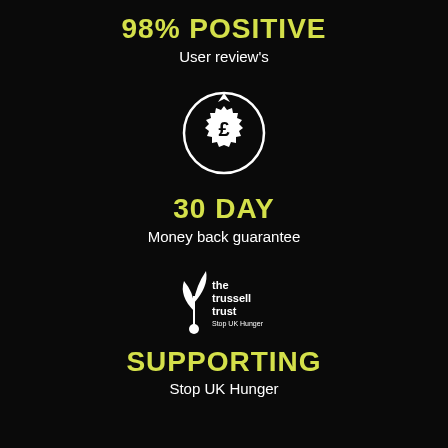98% POSITIVE
User review's
[Figure (illustration): Circular arrow refresh icon with a pound sign badge/seal in the center, drawn in white on black background]
30 DAY
Money back guarantee
[Figure (logo): The Trussell Trust logo - Stop UK Hunger, white plant/leaf illustration with text]
SUPPORTING
Stop UK Hunger